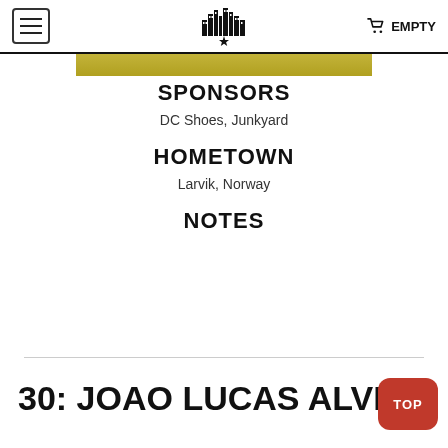EMPTY
[Figure (photo): Partial photo of a person wearing a yellow/green jersey, cropped to show chin/neck area]
SPONSORS
DC Shoes, Junkyard
HOMETOWN
Larvik, Norway
NOTES
30: JOAO LUCAS ALVE